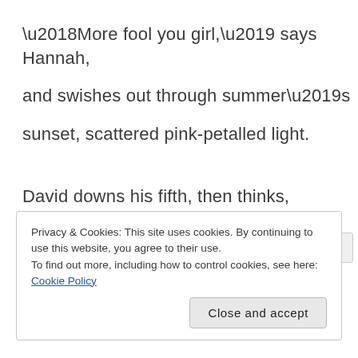'More fool you girl,' says Hannah,
and swishes out through summer's
sunset, scattered pink-petalled light.
David downs his fifth, then thinks,
what if his girl takes flight? Weary,
Privacy & Cookies: This site uses cookies. By continuing to use this website, you agree to their use.
To find out more, including how to control cookies, see here: Cookie Policy
Close and accept